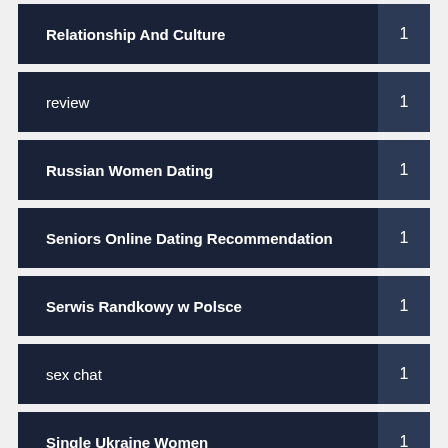Relationship And Culture  1
review  1
Russian Women Dating  1
Seniors Online Dating Recommendation  1
Serwis Randkowy w Polsce  1
sex chat  1
Single Ukraine Women  1